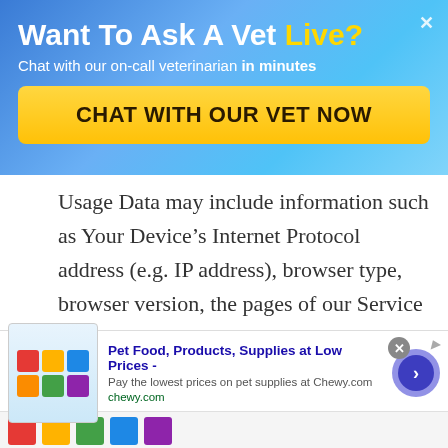Want To Ask A Vet Live?
Chat with our on-call veterinarian in minutes
CHAT WITH OUR VET NOW
Usage Data may include information such as Your Device’s Internet Protocol address (e.g. IP address), browser type, browser version, the pages of our Service that You visit, the time and date of Your visit, the time spent on those pages, unique
Pet Food, Products, Supplies at Low Prices -
Pay the lowest prices on pet supplies at Chewy.com
chewy.com